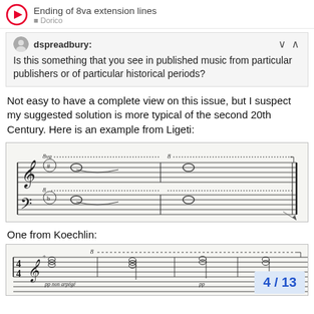Ending of 8va extension lines
dspreadbury:
Is this something that you see in published music from particular publishers or of particular historical periods?
Not easy to have a complete view on this issue, but I suspect my suggested solution is more typical of the second 20th Century. Here is an example from Ligeti:
[Figure (photo): Musical score excerpt from Ligeti showing 8va extension lines across two piano staves with treble and bass clef, showing whole notes with 8va markings and dotted extension lines.]
One from Koechlin:
[Figure (photo): Musical score excerpt from Koechlin, 4/4 time signature, marked pp non arpégé, showing chords with an 8va dotted extension line across the top staff.]
4 / 13